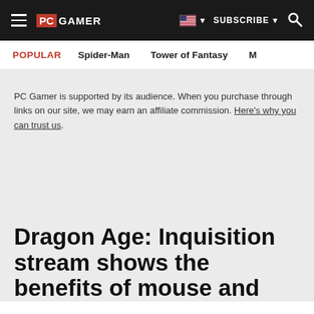PC GAMER | SUBSCRIBE | Search
POPULAR  Spider-Man  Tower of Fantasy  M
PC Gamer is supported by its audience. When you purchase through links on our site, we may earn an affiliate commission. Here's why you can trust us.
Dragon Age: Inquisition stream shows the benefits of mouse and